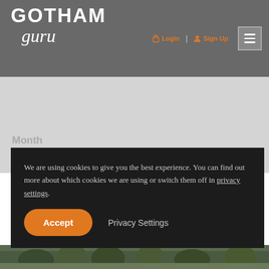GOTHAM guru
Month
We are using cookies to give you the best experience. You can find out more about which cookies we are using or switch them off in privacy settings.
Accept  Privacy Settings
[Figure (photo): Partial view of outdoor scene with trees/vegetation at bottom of page]